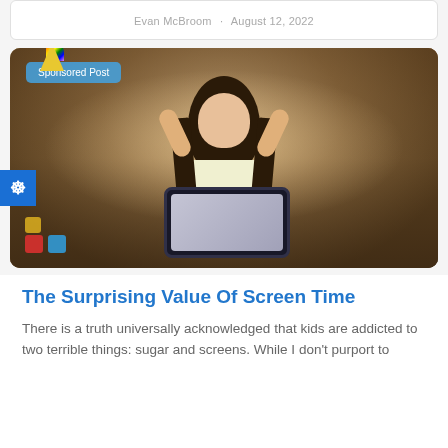Evan McBroom · August 12, 2022
[Figure (photo): A young girl wearing a party hat smiles while looking at a tablet, her hands on either side of her head. A 'Sponsored Post' badge appears in the upper left of the image.]
The Surprising Value Of Screen Time
There is a truth universally acknowledged that kids are addicted to two terrible things: sugar and screens. While I don't purport to